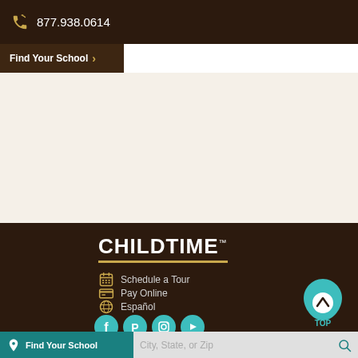877.938.0614
Find Your School ›
[Figure (logo): CHILDTIME logo in white bold text with gold underline on dark brown background]
Schedule a Tour
Pay Online
Español
[Figure (infographic): Social media icons: Facebook, Pinterest, Instagram, YouTube on teal circles; TOP button with teal teardrop/chevron icon]
Find Your School  City, State, or Zip